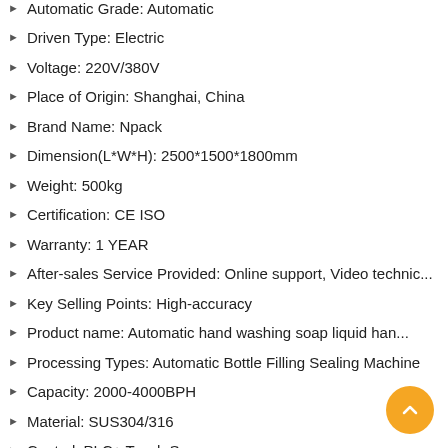Automatic Grade: Automatic
Driven Type: Electric
Voltage: 220V/380V
Place of Origin: Shanghai, China
Brand Name: Npack
Dimension(L*W*H): 2500*1500*1800mm
Weight: 500kg
Certification: CE ISO
Warranty: 1 YEAR
After-sales Service Provided: Online support, Video technic...
Key Selling Points: High-accuracy
Product name: Automatic hand washing soap liquid han...
Processing Types: Automatic Bottle Filling Sealing Machine
Capacity: 2000-4000BPH
Material: SUS304/316
Control: PLC+ Touch Screen
After sale service: Engineers available to service machine...
Filling Accuracy: ±1%
Filling nozzles: 2/4/6/8/10/12(customized)